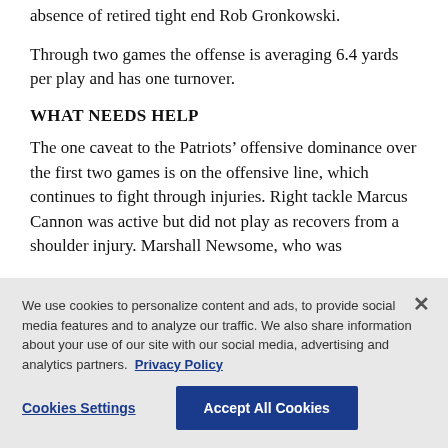absence of retired tight end Rob Gronkowski.
Through two games the offense is averaging 6.4 yards per play and has one turnover.
WHAT NEEDS HELP
The one caveat to the Patriots’ offensive dominance over the first two games is on the offensive line, which continues to fight through injuries. Right tackle Marcus Cannon was active but did not play as recovers from a shoulder injury. Marshall Newsome, who was
We use cookies to personalize content and ads, to provide social media features and to analyze our traffic. We also share information about your use of our site with our social media, advertising and analytics partners. Privacy Policy
Cookies Settings
Accept All Cookies